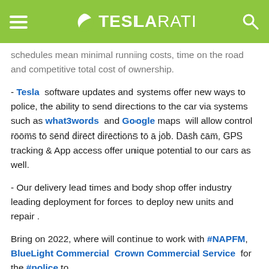TESLARATI
schedules mean minimal running costs, time on the road and competitive total cost of ownership.
- Tesla software updates and systems offer new ways to police, the ability to send directions to the car via systems such as what3words and Google maps will allow control rooms to send direct directions to a job. Dash cam, GPS tracking & App access offer unique potential to our cars as well.
- Our delivery lead times and body shop offer industry leading deployment for forces to deploy new units and repair .
Bring on 2022, where will continue to work with #NAPFM, BlueLight Commercial Crown Commercial Service for the #police to